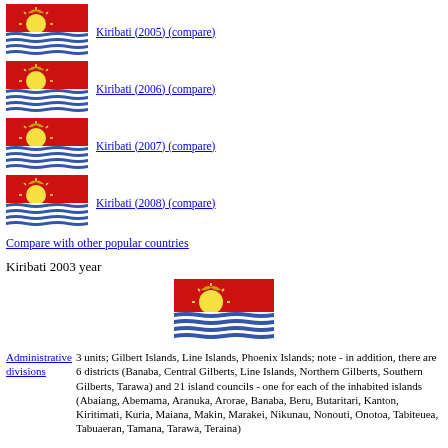[Figure (illustration): Flag of Kiribati - red top half with yellow bird and sun, blue and white wavy stripes on bottom]
Kiribati (2005) (compare)
[Figure (illustration): Flag of Kiribati - red top half with yellow bird and sun, blue and white wavy stripes on bottom]
Kiribati (2006) (compare)
[Figure (illustration): Flag of Kiribati - red top half with yellow bird and sun, blue and white wavy stripes on bottom]
Kiribati (2007) (compare)
[Figure (illustration): Flag of Kiribati - red top half with yellow bird and sun, blue and white wavy stripes on bottom]
Kiribati (2008) (compare)
Compare with other popular countries
Kiribati 2003 year
[Figure (illustration): Flag of Kiribati - red top half with yellow bird and sun, blue and white wavy stripes on bottom]
Administrative divisions
3 units; Gilbert Islands, Line Islands, Phoenix Islands; note - in addition, there are 6 districts (Banaba, Central Gilberts, Line Islands, Northern Gilberts, Southern Gilberts, Tarawa) and 21 island councils - one for each of the inhabited islands (Abaiang, Abemama, Aranuka, Arorae, Banaba, Beru, Butaritari, Kanton, Kiritimati, Kuria, Maiana, Makin, Marakei, Nikunau, Nonouti, Onotoa, Tabiteuea, Tabuaeran, Tamana, Tarawa, Teraina)